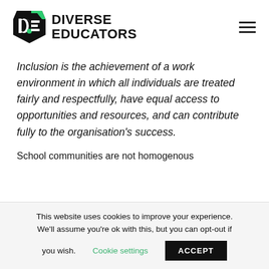[Figure (logo): Diverse Educators logo with geometric DE icon in black and green, and bold text 'DIVERSE EDUCATORS']
Inclusion is the achievement of a work environment in which all individuals are treated fairly and respectfully, have equal access to opportunities and resources, and can contribute fully to the organisation's success.
School communities are not homogenous
This website uses cookies to improve your experience. We'll assume you're ok with this, but you can opt-out if you wish.
Cookie settings  ACCEPT